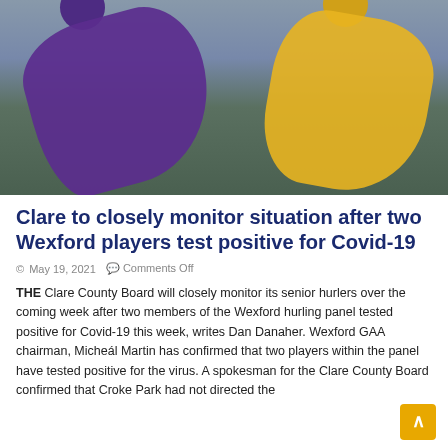[Figure (photo): Two hurling players in action — one in purple (Wexford) jersey diving/falling, one in yellow and white (Clare) kit reaching across. Stadium background.]
Clare to closely monitor situation after two Wexford players test positive for Covid-19
© May 19, 2021   Comments Off
THE Clare County Board will closely monitor its senior hurlers over the coming week after two members of the Wexford hurling panel tested positive for Covid-19 this week, writes Dan Danaher. Wexford GAA chairman, Micheál Martin has confirmed that two players within the panel have tested positive for the virus. A spokesman for the Clare County Board confirmed that Croke Park had not directed the